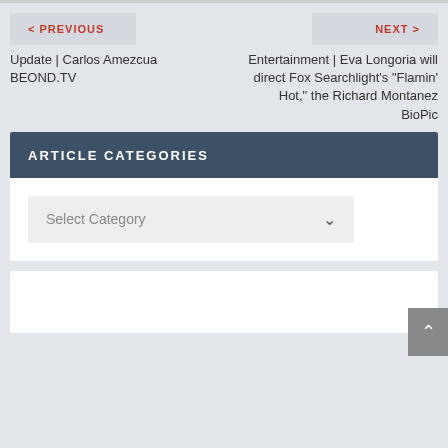< PREVIOUS
NEXT >
Update | Carlos Amezcua BEOND.TV
Entertainment | Eva Longoria will direct Fox Searchlight’s “Flamin’ Hot,” the Richard Montanez BioPic
ARTICLE CATEGORIES
Select Category